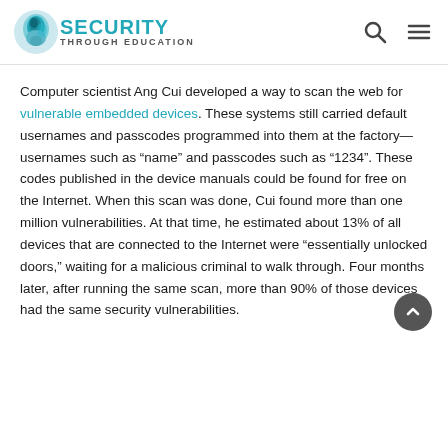SECURITY THROUGH EDUCATION
Computer scientist Ang Cui developed a way to scan the web for vulnerable embedded devices. These systems still carried default usernames and passcodes programmed into them at the factory—usernames such as “name” and passcodes such as “1234”. These codes published in the device manuals could be found for free on the Internet. When this scan was done, Cui found more than one million vulnerabilities. At that time, he estimated about 13% of all devices that are connected to the Internet were “essentially unlocked doors,” waiting for a malicious criminal to walk through. Four months later, after running the same scan, more than 90% of those devices had the same security vulnerabilities.